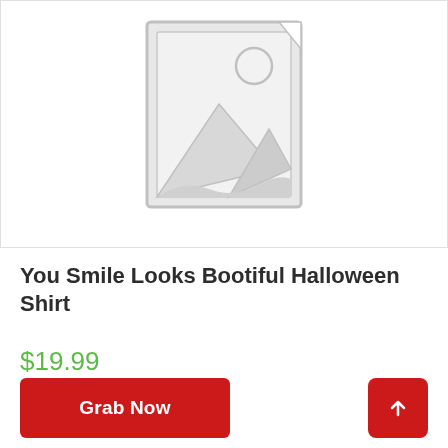[Figure (illustration): Placeholder product image: a grey outlined picture frame icon with mountain landscape and sun silhouette inside, on white background]
You Smile Looks Bootiful Halloween Shirt
$19.99
Grab Now